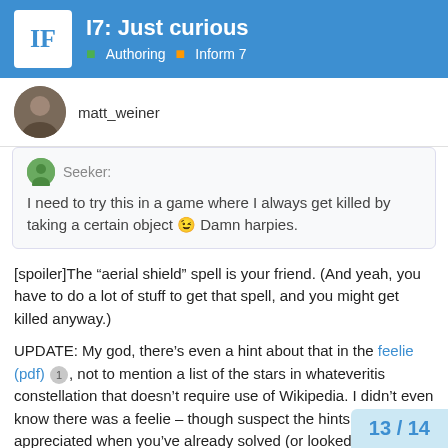I7: Just curious | Authoring | Inform 7
matt_weiner
Seeker: I need to try this in a game where I always get killed by taking a certain object 😉 Damn harpies.
[spoiler]The “aerial shield” spell is your friend. (And yeah, you have to do a lot of stuff to get that spell, and you might get killed anyway.)
UPDATE: My god, there’s even a hint about that in the feelie (pdf) 1 , not to mention a list of the stars in whateveritis constellation that doesn’t require use of Wikipedia. I didn’t even know there was a feelie – though suspect the hints are best appreciated when you’ve already solved (or looked up the solution to) the puzzle for which they’re hints.[/spoiler]
13 / 14